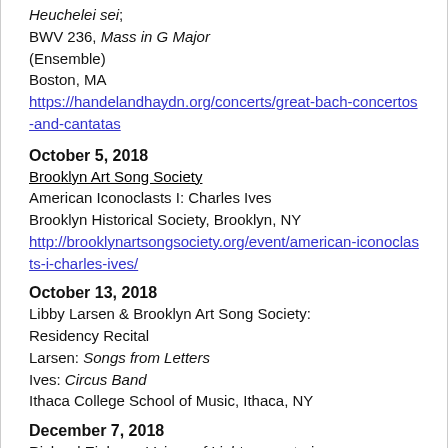Heuchelei sei; BWV 236, Mass in G Major (Ensemble) Boston, MA https://handelandhaydn.org/concerts/great-bach-concertos-and-cantatas
October 5, 2018 — Brooklyn Art Song Society: American Iconoclasts I: Charles Ives, Brooklyn Historical Society, Brooklyn, NY. http://brooklynartsongsociety.org/event/american-iconoclasts-i-charles-ives/
October 13, 2018 — Libby Larsen & Brooklyn Art Song Society: Residency Recital. Larsen: Songs from Letters. Ives: Circus Band. Ithaca College School of Music, Ithaca, NY
December 7, 2018 — Richard Einhorn: Voices of Light: an oratorio inspired by Carl Dreyer's film The Passion of Joan of Arc. Colgate University. Hamilton, NY